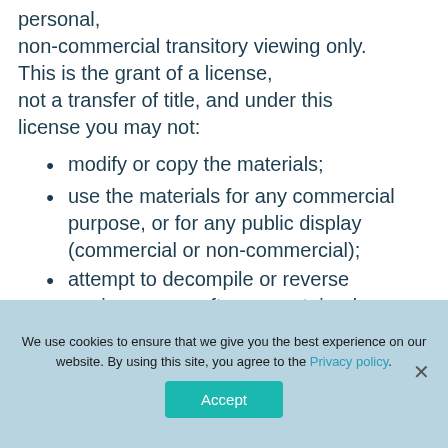personal, non-commercial transitory viewing only. This is the grant of a license, not a transfer of title, and under this license you may not:
modify or copy the materials;
use the materials for any commercial purpose, or for any public display (commercial or non-commercial);
attempt to decompile or reverse engineer any software contained
We use cookies to ensure that we give you the best experience on our website. By using this site, you agree to the Privacy policy.
Accept